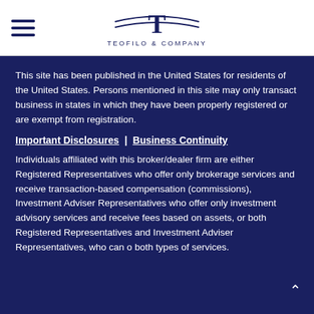Teofilo & Company
This site has been published in the United States for residents of the United States. Persons mentioned in this site may only transact business in states in which they have been properly registered or are exempt from registration.
Important Disclosures | Business Continuity
Individuals affiliated with this broker/dealer firm are either Registered Representatives who offer only brokerage services and receive transaction-based compensation (commissions), Investment Adviser Representatives who offer only investment advisory services and receive fees based on assets, or both Registered Representatives and Investment Adviser Representatives, who can o both types of services.